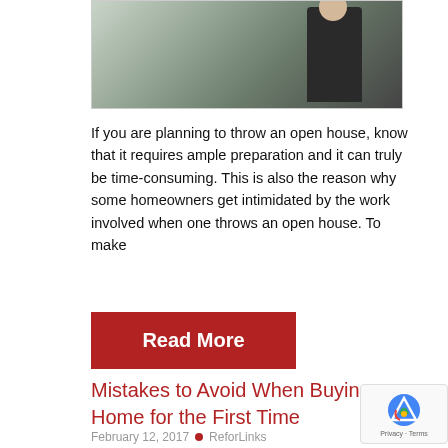[Figure (photo): Partial photo of a person in a dark suit near a door, with indoor plants and furniture in background]
If you are planning to throw an open house, know that it requires ample preparation and it can truly be time-consuming. This is also the reason why some homeowners get intimidated by the work involved when one throws an open house. To make
Read More
Mistakes to Avoid When Buying a Home for the First Time
February 12, 2017  •  ReforLinks